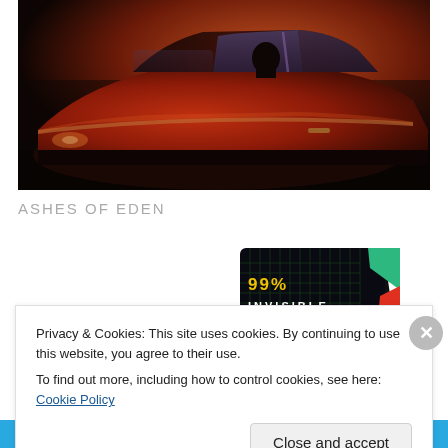[Figure (photo): A vintage red muscle car viewed from the side at sunset/dusk lighting, with a person visible in the driver's seat through the window. The car has a warm orange-red body with the background showing dark road/trees.]
ASHES OF EDEN
[Figure (photo): 99% Invisible podcast card/logo — black card with green grid pattern and yellow/white text '99% INVISIBLE', with colorful geometric shapes (green, red, blue) on the right side.]
Privacy & Cookies: This site uses cookies. By continuing to use this website, you agree to their use.
To find out more, including how to control cookies, see here: Cookie Policy
Close and accept